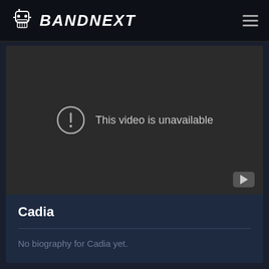BANDNEXT
[Figure (screenshot): Embedded video player showing 'This video is unavailable' message with a warning icon and YouTube logo button in bottom right corner.]
Cadia
No biography for Cadia yet.